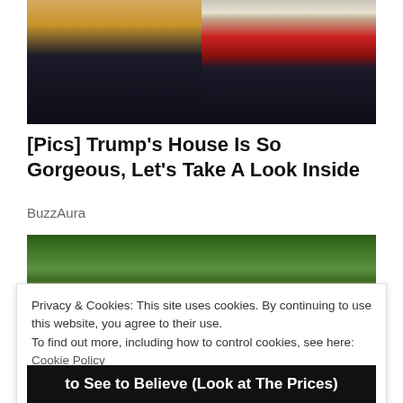[Figure (photo): Photo of two people, a blonde woman on the left and a man in a suit with a red tie on the right, both smiling]
[Pics] Trump's House Is So Gorgeous, Let's Take A Look Inside
BuzzAura
[Figure (photo): Photo of trees and outdoor scenery, appears to be a house exterior]
Privacy & Cookies: This site uses cookies. By continuing to use this website, you agree to their use.
To find out more, including how to control cookies, see here: Cookie Policy
Close and accept
to See to Believe (Look at The Prices)